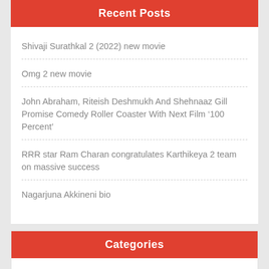Recent Posts
Shivaji Surathkal 2 (2022) new movie
Omg 2 new movie
John Abraham, Riteish Deshmukh And Shehnaaz Gill Promise Comedy Roller Coaster With Next Film ‘100 Percent’
RRR star Ram Charan congratulates Karthikeya 2 team on massive success
Nagarjuna Akkineni bio
Categories
Bio